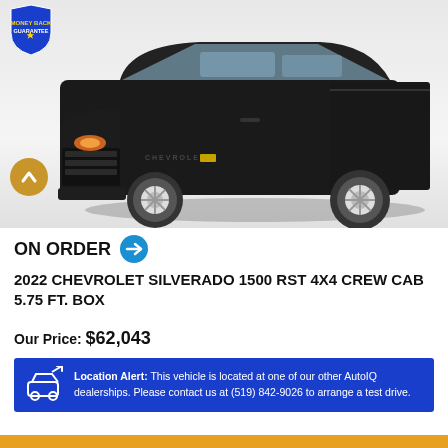MEET VIRTUALLY WITH A LIVE SALES CONSULTANT
[Figure (photo): Black 2022 Chevrolet Silverado 1500 RST 4x4 Crew Cab pickup truck on white/grey background, front three-quarter view. A gold circular up-arrow navigation button appears on the left side of the image. A blue shield badge with 'Money Back Guarantee' text appears in the top-left corner.]
ON ORDER →
2022 CHEVROLET SILVERADO 1500 RST 4X4 CREW CAB 5.75 FT. BOX
Our Price: $62,043
Location Alert: This vehicle is located at one of our other AutoIQ dealerships. Please contact us at (519) 842-9026 to arrange a test drive.